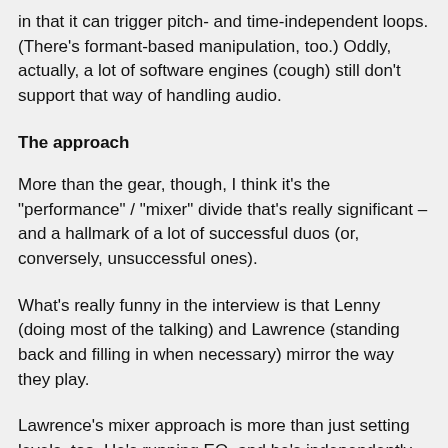in that it can trigger pitch- and time-independent loops. (There's formant-based manipulation, too.) Oddly, actually, a lot of software engines (cough) still don't support that way of handling audio.
The approach
More than the gear, though, I think it's the "performance" / "mixer" divide that's really significant – and a hallmark of a lot of successful duos (or, conversely, unsuccessful ones).
What's really funny in the interview is that Lenny (doing most of the talking) and Lawrence (standing back and filling in when necessary) mirror the way they play.
Lawrence's mixer approach is more than just setting levels, too. He's running EQ, and he's independently controlling effects. I think this also separates Octave